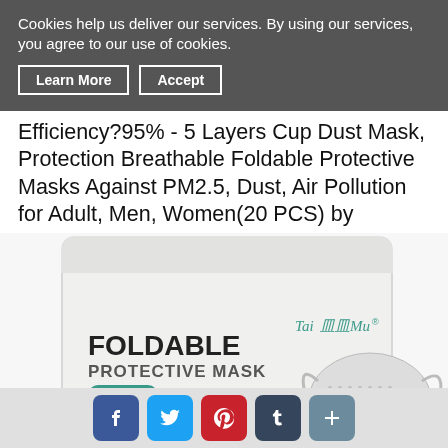Cookies help us deliver our services. By using our services, you agree to our use of cookies.
Learn More   Accept
Efficiency?95% - 5 Layers Cup Dust Mask, Protection Breathable Foldable Protective Masks Against PM2.5, Dust, Air Pollution for Adult, Men, Women(20 PCS) by
[Figure (photo): Product photo showing white packaging bag with 'FOLDABLE PROTECTIVE MASK' text, Standard GB2626-2006 KN95 label, TaiMoMu brand logo, and a KN95 folded cup mask shown beside the package.]
[Figure (infographic): Social media sharing icons: Facebook, Twitter, Pinterest, Tumblr, and a plus/share button on a light gray bar.]